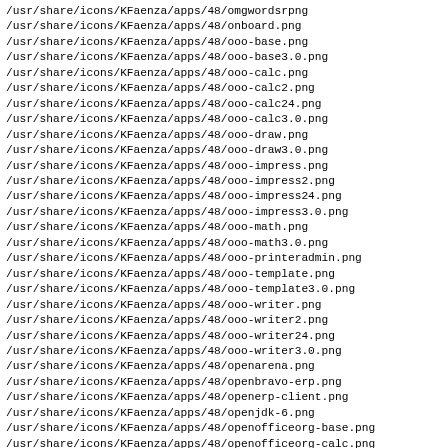/usr/share/icons/KFaenza/apps/48/omgwordsrpng
/usr/share/icons/KFaenza/apps/48/onboard.png
/usr/share/icons/KFaenza/apps/48/ooo-base.png
/usr/share/icons/KFaenza/apps/48/ooo-base3.0.png
/usr/share/icons/KFaenza/apps/48/ooo-calc.png
/usr/share/icons/KFaenza/apps/48/ooo-calc2.png
/usr/share/icons/KFaenza/apps/48/ooo-calc24.png
/usr/share/icons/KFaenza/apps/48/ooo-calc3.0.png
/usr/share/icons/KFaenza/apps/48/ooo-draw.png
/usr/share/icons/KFaenza/apps/48/ooo-draw3.0.png
/usr/share/icons/KFaenza/apps/48/ooo-impress.png
/usr/share/icons/KFaenza/apps/48/ooo-impress2.png
/usr/share/icons/KFaenza/apps/48/ooo-impress24.png
/usr/share/icons/KFaenza/apps/48/ooo-impress3.0.png
/usr/share/icons/KFaenza/apps/48/ooo-math.png
/usr/share/icons/KFaenza/apps/48/ooo-math3.0.png
/usr/share/icons/KFaenza/apps/48/ooo-printeradmin.png
/usr/share/icons/KFaenza/apps/48/ooo-template.png
/usr/share/icons/KFaenza/apps/48/ooo-template3.0.png
/usr/share/icons/KFaenza/apps/48/ooo-writer.png
/usr/share/icons/KFaenza/apps/48/ooo-writer2.png
/usr/share/icons/KFaenza/apps/48/ooo-writer24.png
/usr/share/icons/KFaenza/apps/48/ooo-writer3.0.png
/usr/share/icons/KFaenza/apps/48/openarena.png
/usr/share/icons/KFaenza/apps/48/openbravo-erp.png
/usr/share/icons/KFaenza/apps/48/openerp-client.png
/usr/share/icons/KFaenza/apps/48/openjdk-6.png
/usr/share/icons/KFaenza/apps/48/openofficeorg-base.png
/usr/share/icons/KFaenza/apps/48/openofficeorg-calc.png
/usr/share/icons/KFaenza/apps/48/openofficeorg-draw.png
/usr/share/icons/KFaenza/apps/48/openofficeorg-impress.png